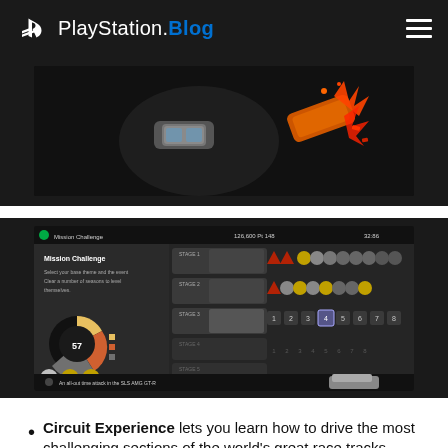PlayStation.Blog
[Figure (screenshot): Game screenshot showing racing cars from top-down perspective on dark background with orange and red collision effects]
[Figure (screenshot): Gran Turismo game UI screenshot showing Mission Challenge screen with stage selection, pie chart showing 57, medal/trophy icons numbered 1-8 across multiple stages]
Circuit Experience lets you learn how to drive the most challenging sections of the world's great race tracks, sector by sector,